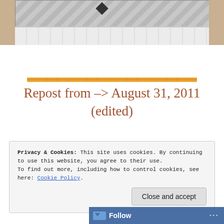[Figure (photo): Partial view of a bed with a gray quilted bedspread and white bed skirt, photographed from the side showing the lower portion of the bed.]
[Figure (other): Decorative horizontal divider/separator line with orange and gold textured pattern.]
Repost from --> August 31, 2011 (edited)
Privacy & Cookies: This site uses cookies. By continuing to use this website, you agree to their use.
To find out more, including how to control cookies, see here: Cookie Policy.
Close and accept
Follow